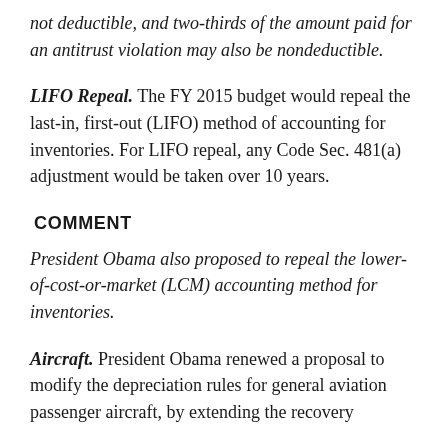not deductible, and two-thirds of the amount paid for an antitrust violation may also be nondeductible.
LIFO Repeal. The FY 2015 budget would repeal the last-in, first-out (LIFO) method of accounting for inventories. For LIFO repeal, any Code Sec. 481(a) adjustment would be taken over 10 years.
COMMENT
President Obama also proposed to repeal the lower-of-cost-or-market (LCM) accounting method for inventories.
Aircraft. President Obama renewed a proposal to modify the depreciation rules for general aviation passenger aircraft, by extending the recovery